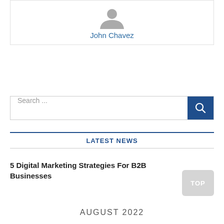[Figure (illustration): Profile card with grey silhouette avatar icon and name 'John Chavez' in blue text]
John Chavez
Search ...
LATEST NEWS
5 Digital Marketing Strategies For B2B Businesses
AUGUST 2022